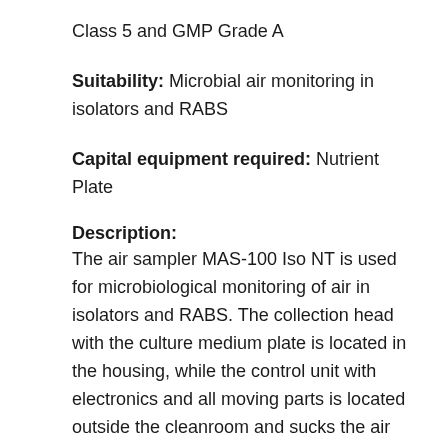Class 5 and GMP Grade A
Suitability: Microbial air monitoring in isolators and RABS
Capital equipment required: Nutrient Plate
Description:
The air sampler MAS-100 Iso NT is used for microbiological monitoring of air in isolators and RABS. The collection head with the culture medium plate is located in the housing, while the control unit with electronics and all moving parts is located outside the cleanroom and sucks the air through a tube/hose system. The system is designed for maximum product and environmental protection and can be controlled with...